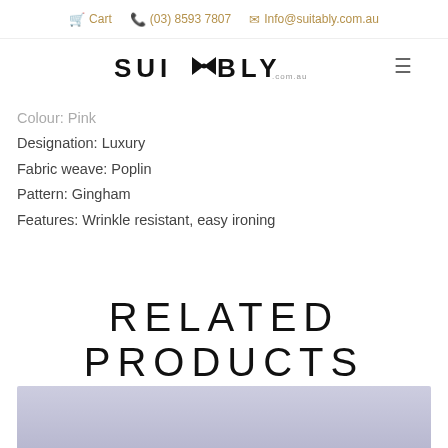Cart  (03) 8593 7807  Info@suitably.com.au
[Figure (logo): Suitably.com.au logo with bow tie icon]
Colour: Pink
Designation: Luxury
Fabric weave: Poplin
Pattern: Gingham
Features: Wrinkle resistant, easy ironing
RELATED PRODUCTS
[Figure (photo): Product image - light purple/lavender fabric or shirt, partially visible at bottom of page]